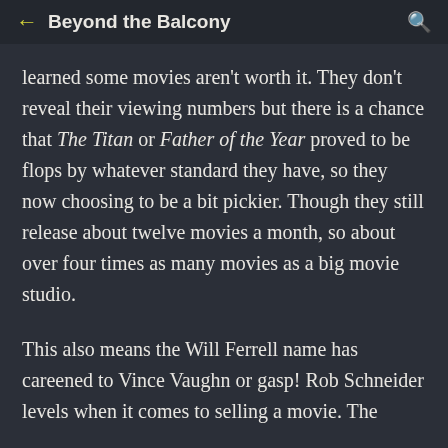Beyond the Balcony
learned some movies aren't worth it. They don't reveal their viewing numbers but there is a chance that The Titan or Father of the Year proved to be flops by whatever standard they have, so they now choosing to be a bit pickier. Though they still release about twelve movies a month, so about over four times as many movies as a big movie studio.
This also means the Will Ferrell name has careened to Vince Vaughn or gasp! Rob Schneider levels when it comes to selling a movie. The